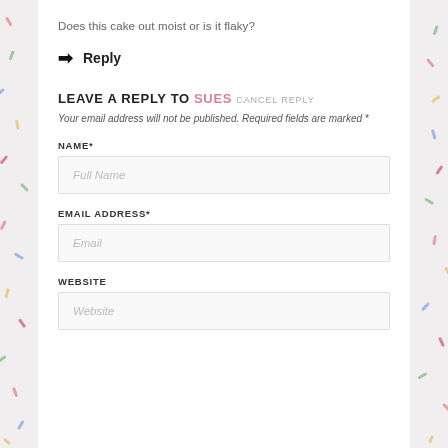Does this cake out moist or is it flaky?
→ Reply
LEAVE A REPLY TO SUES CANCEL REPLY
Your email address will not be published. Required fields are marked *
NAME*
Full Name
EMAIL ADDRESS*
Email
WEBSITE
Website